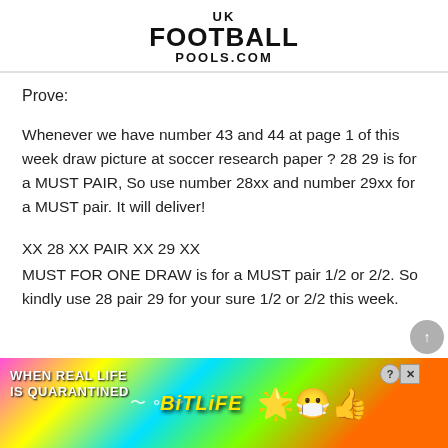[Figure (logo): UK Football Pools.com logo in bold black text, centered at top of page]
Prove:
Whenever we have number 43 and 44 at page 1 of this week draw picture at soccer research paper ? 28 29 is for a MUST PAIR, So use number 28xx and number 29xx for a MUST pair. It will deliver!
XX 28 XX PAIR XX 29 XX
MUST FOR ONE DRAW is for a MUST pair 1/2 or 2/2. So kindly use 28 pair 29 for your sure 1/2 or 2/2 this week.
[Figure (illustration): BitLife advertisement banner with rainbow gradient background, 'WHEN REAL LIFE IS QUARANTINED' text, and BitLife logo with emoji characters]